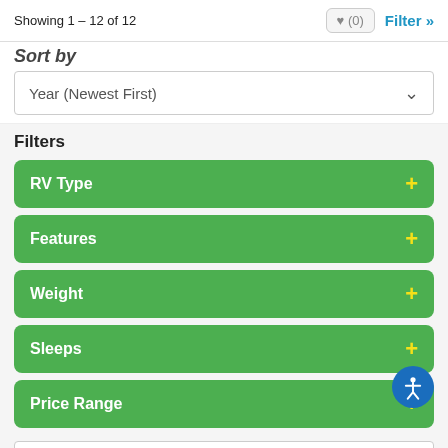Showing 1 – 12 of 12
♥ (0)
Filter »
Sort by
Year (Newest First)
Filters
RV Type +
Features +
Weight +
Sleeps +
Price Range +
Stock # or Model
Search